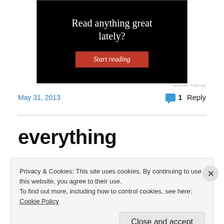[Figure (screenshot): Black advertisement banner with white serif text 'Read anything great lately?' and a red 'Start reading' button]
REPORT THIS AD
May 31, 2013
1 Reply
everything
[Figure (photo): Partial image strip visible behind cookie banner]
Privacy & Cookies: This site uses cookies. By continuing to use this website, you agree to their use.
To find out more, including how to control cookies, see here: Cookie Policy
Close and accept
[Figure (other): Bottom colored strip (blue, green, yellow gradient)]
REPORT THIS AD